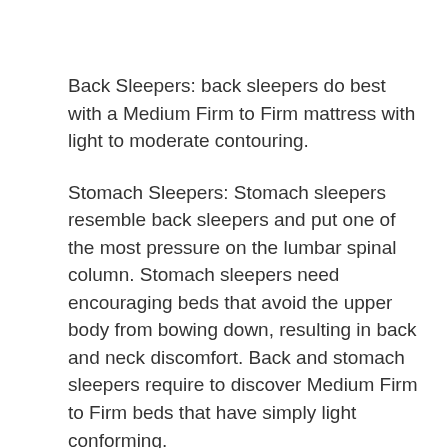Back Sleepers: back sleepers do best with a Medium Firm to Firm mattress with light to moderate contouring.
Stomach Sleepers: Stomach sleepers resemble back sleepers and put one of the most pressure on the lumbar spinal column. Stomach sleepers need encouraging beds that avoid the upper body from bowing down, resulting in back and neck discomfort. Back and stomach sleepers require to discover Medium Firm to Firm beds that have simply light conforming.